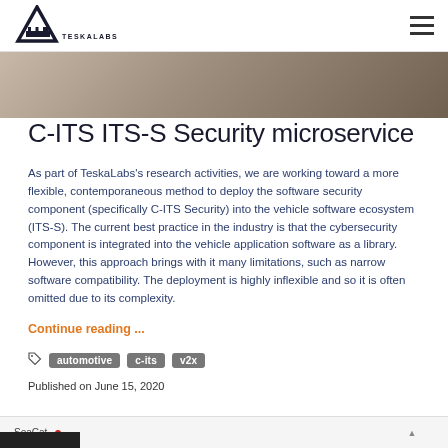TeskaLabs
[Figure (photo): Hero image showing partial view of a person, dark tones]
C-ITS ITS-S Security microservice
As part of TeskaLabs’s research activities, we are working toward a more flexible, contemporaneous method to deploy the software security component (specifically C-ITS Security) into the vehicle software ecosystem (ITS-S). The current best practice in the industry is that the cybersecurity component is integrated into the vehicle application software as a library. However, this approach brings with it many limitations, such as narrow software compatibility. The deployment is highly inflexible and so it is often omitted due to its complexity.
Continue reading ...
automotive
c-its
v2x
Published on June 15, 2020
[Figure (screenshot): Bottom strip showing SeaCat interface partial view]